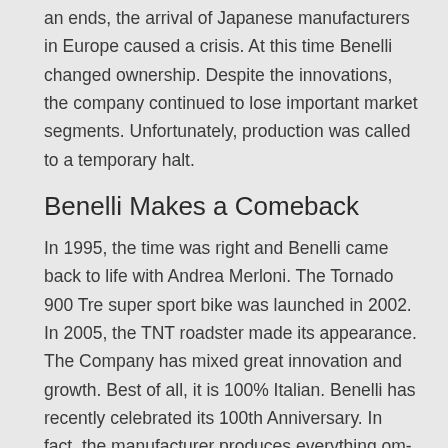an ends, the arrival of Japanese manufacturers in Europe caused a crisis. At this time Benelli changed ownership. Despite the innovations, the company continued to lose important market segments. Unfortunately, production was called to a temporary halt.
Benelli Makes a Comeback
In 1995, the time was right and Benelli came back to life with Andrea Merloni. The Tornado 900 Tre super sport bike was launched in 2002. In 2005, the TNT roadster made its appearance. The Company has mixed great innovation and growth. Best of all, it is 100% Italian. Benelli has recently celebrated its 100th Anniversary. In fact, the manufacturer produces everything om-house, from the design to the assembly.
New Products